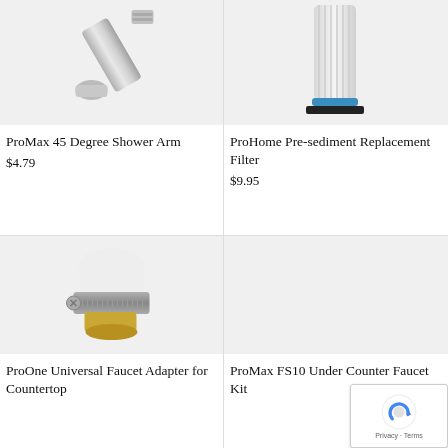[Figure (photo): ProMax 45 Degree Shower Arm product photo - chrome angled fitting on gray background]
ProMax 45 Degree Shower Arm
$4.79
[Figure (photo): ProHome Pre-sediment Replacement Filter product photo - white cylindrical filter cartridge on gray background]
ProHome Pre-sediment Replacement Filter
$9.95
[Figure (photo): ProOne Universal Faucet Adapter for Countertop product photo - white plastic adapter with metal clamp ring]
ProOne Universal Faucet Adapter for Countertop
[Figure (photo): ProMax FS10 Under Counter Faucet Kit product photo - gray background, mostly empty]
ProMax FS10 Under Counter Faucet Kit